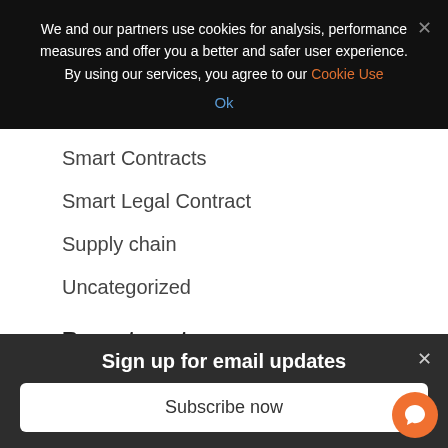We and our partners use cookies for analysis, performance measures and offer you a better and safer user experience. By using our services, you agree to our Cookie Use
Ok
Smart Contracts
Smart Legal Contract
Supply chain
Uncategorized
Recent posts
Sign up for email updates
Subscribe now